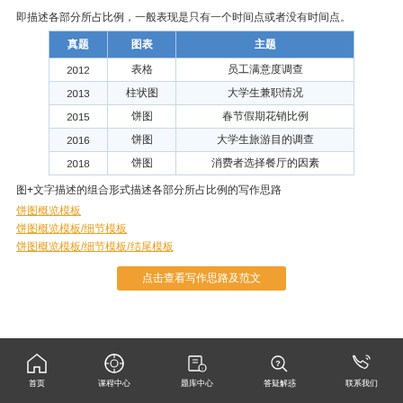即描述各部分所占比例，一般表现是只有一个时间点或者没有时间点。
| 真题 | 图表 | 主题 |
| --- | --- | --- |
| 2012 | 表格 | 员工满意度调查 |
| 2013 | 柱状图 | 大学生兼职情况 |
| 2015 | 饼图 | 春节假期花销比例 |
| 2016 | 饼图 | 大学生旅游目的调查 |
| 2018 | 饼图 | 消费者选择餐厅的因素 |
图+文字描述的组合形式描述各部分所占比例
饼图概览模板
饼图概览模板/细节模板
饼图概览模板/细节模板/结尾模板
点击查看写作思路及范文
首页  课程中心  题库中心  答疑解惑  联系我们